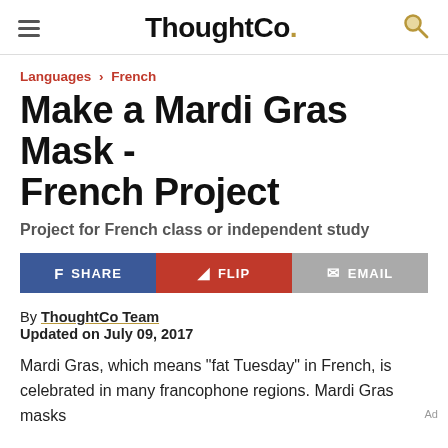ThoughtCo.
Languages › French
Make a Mardi Gras Mask - French Project
Project for French class or independent study
SHARE  FLIP  EMAIL
By ThoughtCo Team
Updated on July 09, 2017
Mardi Gras, which means "fat Tuesday" in French, is celebrated in many francophone regions. Mardi Gras masks